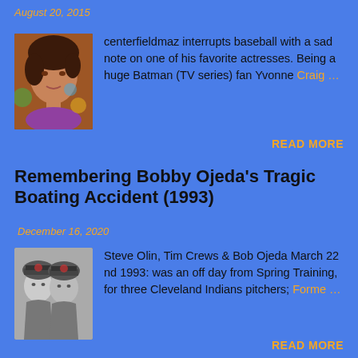August 20, 2015
[Figure (photo): Portrait photo of actress Yvonne Craig in color]
centerfieldmaz interrupts baseball with a sad note on one of his favorite actresses. Being a huge Batman (TV series) fan Yvonne Craig …
READ MORE
Remembering Bobby Ojeda's Tragic Boating Accident (1993)
December 16, 2020
[Figure (photo): Black and white photo of Steve Olin, Tim Crews and Bob Ojeda in baseball caps]
Steve Olin, Tim Crews & Bob Ojeda March 22 nd 1993: was an off day from Spring Training, for three Cleveland Indians pitchers; Forme …
READ MORE